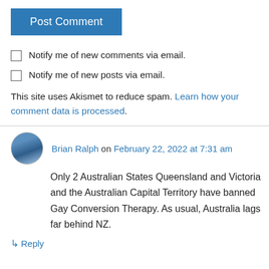Post Comment
Notify me of new comments via email.
Notify me of new posts via email.
This site uses Akismet to reduce spam. Learn how your comment data is processed.
Brian Ralph on February 22, 2022 at 7:31 am
Only 2 Australian States Queensland and Victoria and the Australian Capital Territory have banned Gay Conversion Therapy. As usual, Australia lags far behind NZ.
Reply